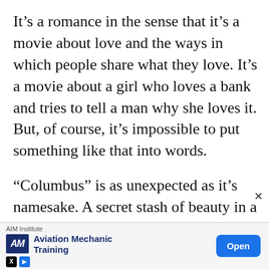It's a romance in the sense that it's a movie about love and the ways in which people share what they love. It's a movie about a girl who loves a bank and tries to tell a man why she loves it. But, of course, it's impossible to put something like that into words.
“Columbus” is as unexpected as it’s namesake. A secret stash of beauty in a genre — quiet indies — that often prioritize quirk and cleverness over aesthetic composition. Like the buildings it depicts, “Columbus” cares equally about form and function.
[Figure (other): Advertisement banner for AIM Institute Aviation Mechanic Training with Open button]